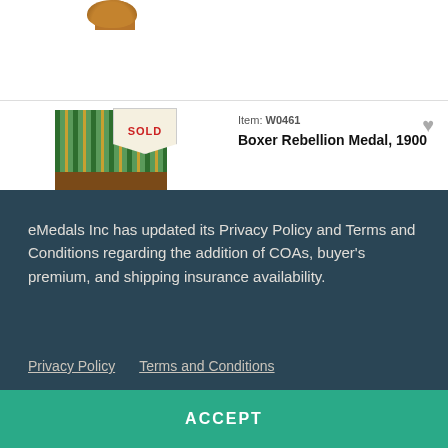[Figure (photo): Top portion of a medal visible at the top of the page]
VIEW
[Figure (photo): Boxer Rebellion Medal with green and gold striped ribbon. A SOLD tag pennant is overlaid on it.]
Item: W0461
Boxer Rebellion Medal, 1900
eMedals Inc has updated its Privacy Policy and Terms and Conditions regarding the addition of COAs, buyer's premium, and shipping insurance availability.
Privacy Policy   Terms and Conditions
ACCEPT
Sold For